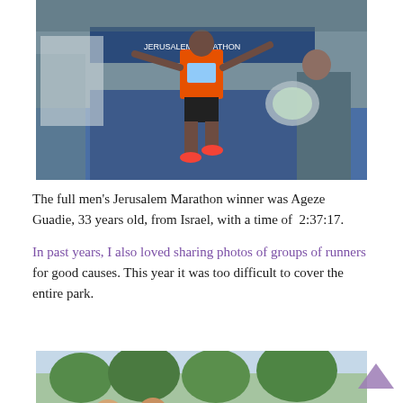[Figure (photo): Marathon winner Ageze Guadie in orange vest at finish line of Jerusalem Marathon, arms spread wide, receiving flowers from a person on the right. Banner in background reads 'JERUSALEM MARATHON'.]
The full men's Jerusalem Marathon winner was Ageze Guadie, 33 years old, from Israel, with a time of  2:37:17.
In past years, I also loved sharing photos of groups of runners for good causes. This year it was too difficult to cover the entire park.
[Figure (photo): Partial photo of groups of runners at the bottom of the page, with trees in background.]